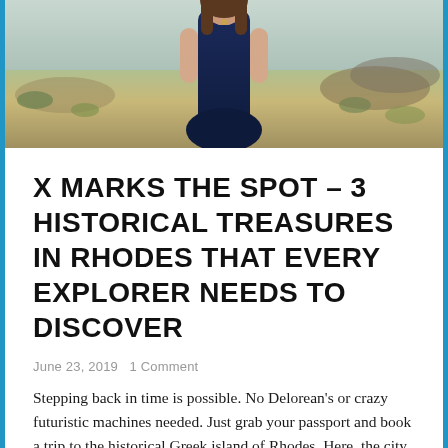[Figure (photo): Woman in navy blue dress standing outdoors in a rocky, arid landscape with sparse green vegetation]
X MARKS THE SPOT – 3 HISTORICAL TREASURES IN RHODES THAT EVERY EXPLORER NEEDS TO DISCOVER
June 23, 2019   1 Comment
Stepping back in time is possible. No Delorean's or crazy futuristic machines needed. Just grab your passport and book a trip to the historical Greek island of Rhodes. Here, the city that once ruled the